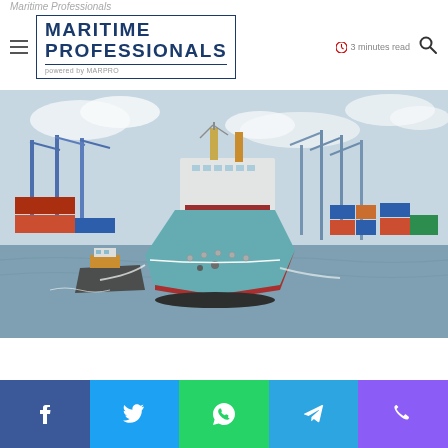Maritime Professionals — powered by MARPRO — 3 minutes read
[Figure (photo): A large cargo/container ship with red hull and teal waterline, accompanied by a tugboat on its left, approaching a busy port with multiple blue cranes and container stacks visible in the background. The photo is taken from a low angle showing the ship's bow prominently against a partly cloudy sky.]
Social share buttons: Facebook, Twitter, WhatsApp, Telegram, Phone